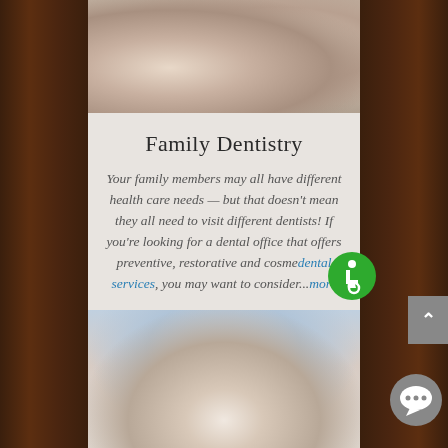[Figure (photo): Partial view of a woman holding her jaw/face, cropped at top of page]
Family Dentistry
Your family members may all have different health care needs — but that doesn't mean they all need to visit different dentists! If you're looking for a dental office that offers preventive, restorative and cosmetic dental services, you may want to consider...more
[Figure (photo): Smiling man looking upward, lower portion of page]